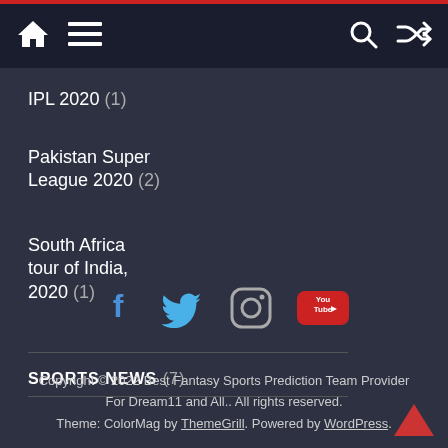Navigation bar with home, menu, search and shuffle icons
IPL 2020 (1)
Pakistan Super League 2020 (2)
South Africa tour of India, 2020 (1)
SPORTS NEWS (7)
[Figure (other): Social media icons: Facebook, Twitter, Instagram, YouTube]
Copyright © 2022 Best Fantasy Sports Prediction Team Provider For Dream11 and All.. All rights reserved. Theme: ColorMag by ThemeGrill. Powered by WordPress.